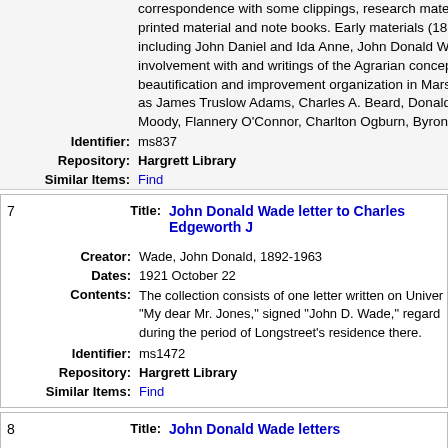correspondence with some clippings, research material, printed material and note books. Early materials (1855-) including John Daniel and Ida Anne, John Donald Wade involvement with and writings of the Agrarian concept, beautification and improvement organization in Marshall as James Truslow Adams, Charles A. Beard, Donald Moody, Flannery O'Connor, Charlton Ogburn, Byron
Identifier: ms837
Repository: Hargrett Library
Similar Items: Find
7  Title: John Donald Wade letter to Charles Edgeworth J...
Creator: Wade, John Donald, 1892-1963
Dates: 1921 October 22
Contents: The collection consists of one letter written on University letterhead, salutation "My dear Mr. Jones," signed "John D. Wade," regarding during the period of Longstreet's residence there.
Identifier: ms1472
Repository: Hargrett Library
Similar Items: Find
8  Title: John Donald Wade letters
Creator: Wade, John Donald, 1892-1963
Dates: 1963